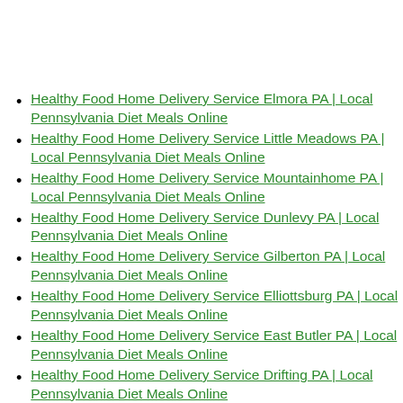Healthy Food Home Delivery Service Elmora PA | Local Pennsylvania Diet Meals Online
Healthy Food Home Delivery Service Little Meadows PA | Local Pennsylvania Diet Meals Online
Healthy Food Home Delivery Service Mountainhome PA | Local Pennsylvania Diet Meals Online
Healthy Food Home Delivery Service Dunlevy PA | Local Pennsylvania Diet Meals Online
Healthy Food Home Delivery Service Gilberton PA | Local Pennsylvania Diet Meals Online
Healthy Food Home Delivery Service Elliottsburg PA | Local Pennsylvania Diet Meals Online
Healthy Food Home Delivery Service East Butler PA | Local Pennsylvania Diet Meals Online
Healthy Food Home Delivery Service Drifting PA | Local Pennsylvania Diet Meals Online